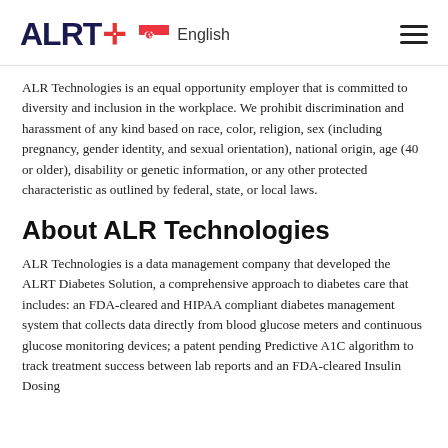ALRT+ [Singapore flag] English [menu]
ALR Technologies is an equal opportunity employer that is committed to diversity and inclusion in the workplace. We prohibit discrimination and harassment of any kind based on race, color, religion, sex (including pregnancy, gender identity, and sexual orientation), national origin, age (40 or older), disability or genetic information, or any other protected characteristic as outlined by federal, state, or local laws.
About ALR Technologies
ALR Technologies is a data management company that developed the ALRT Diabetes Solution, a comprehensive approach to diabetes care that includes: an FDA-cleared and HIPAA compliant diabetes management system that collects data directly from blood glucose meters and continuous glucose monitoring devices; a patent pending Predictive A1C algorithm to track treatment success between lab reports and an FDA-cleared Insulin Dosing